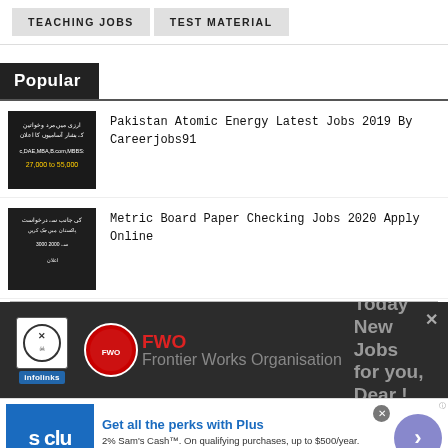TEACHING JOBS | TEST MATERIAL
Popular
Pakistan Atomic Energy Latest Jobs 2019 By Careerjobs91
Metric Board Paper Checking Jobs 2020 Apply Online
[Figure (screenshot): Advertisement banner with infolinks logo, FWO logo, and text 'Today New Jobs for you, Dear!']
[Figure (screenshot): Sam's Club advertisement: 'Get all the perks with Plus. 2% Sam's Cash. On qualifying purchases, up to $500/year. www.samsclub.com']